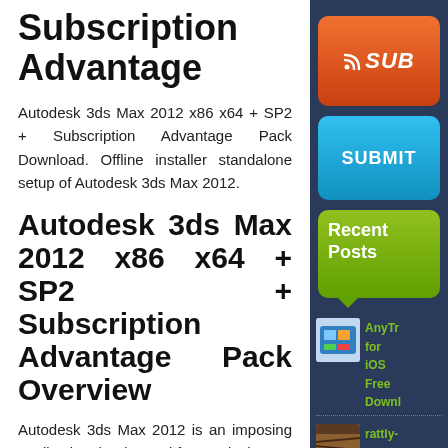Subscription Advantage
Autodesk 3ds Max 2012 x86 x64 + SP2 + Subscription Advantage Pack Download. Offline installer standalone setup of Autodesk 3ds Max 2012.
Autodesk 3ds Max 2012 x86 x64 + SP2 + Subscription Advantage Pack Overview
Autodesk 3ds Max 2012 is an imposing application that is used for 3D designs. It has been equipped with many different
[Figure (screenshot): Orange RSS/Subscribe button with RSS icon and 'SUB' text visible in sidebar]
[Figure (screenshot): Blue Submit button with 'SUBMIT' text in sidebar]
[Figure (screenshot): Green Recent Posts tag/label widget in sidebar]
[Figure (screenshot): Recent post thumbnail for AnyTr for iOS Free Download]
AnyTr for iOS Free Download
[Figure (screenshot): Recent post thumbnail for rattly-and-raw-ttov-]
rattly-and-raw-ttov-